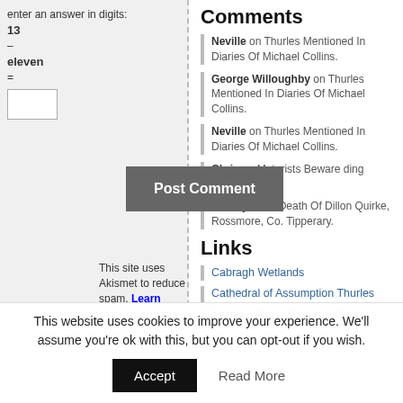enter an answer in digits: 13 – eleven =
Comments
Neville on Thurles Mentioned In Diaries Of Michael Collins.
George Willoughby on Thurles Mentioned In Diaries Of Michael Collins.
Neville on Thurles Mentioned In Diaries Of Michael Collins.
Chris on Motorists Beware ding Around
Neil Ryan on Death Of Dillon Quirke, Rossmore, Co. Tipperary.
Links
Cabragh Wetlands
Cathedral of Assumption Thurles
Catholic Parish Register Records
This site uses Akismet to reduce spam. Learn
This website uses cookies to improve your experience. We'll assume you're ok with this, but you can opt-out if you wish.
Accept
Read More